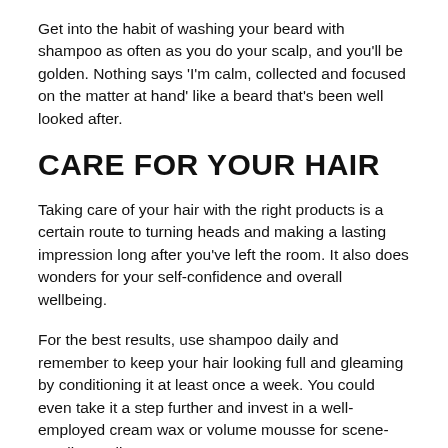Get into the habit of washing your beard with shampoo as often as you do your scalp, and you'll be golden. Nothing says 'I'm calm, collected and focused on the matter at hand' like a beard that's been well looked after.
CARE FOR YOUR HAIR
Taking care of your hair with the right products is a certain route to turning heads and making a lasting impression long after you've left the room. It also does wonders for your self-confidence and overall wellbeing.
For the best results, use shampoo daily and remember to keep your hair looking full and gleaming by conditioning it at least once a week. You could even take it a step further and invest in a well-employed cream wax or volume mousse for scene-stealing styling.
So there you have it, seeing as we've given you a rundown of this season's skin, hair and facial hair care essentials you are now equipped to take on the season. What are you waiting for? It's time to update your grooming routine and create head turning looks.